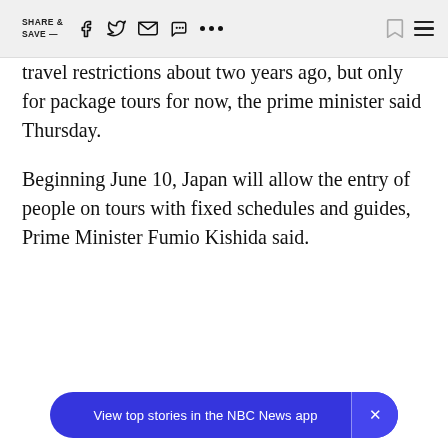SHARE & SAVE —
travel restrictions about two years ago, but only for package tours for now, the prime minister said Thursday.
Beginning June 10, Japan will allow the entry of people on tours with fixed schedules and guides, Prime Minister Fumio Kishida said.
View top stories in the NBC News app ×